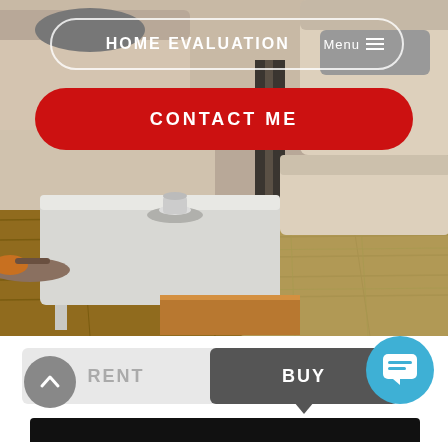[Figure (photo): Interior living room photo showing a white coffee table with a mug on a saucer, a tray with items, beige sofa, hardwood and tile flooring]
HOME EVALUATION
Menu
CONTACT ME
RENT
BUY